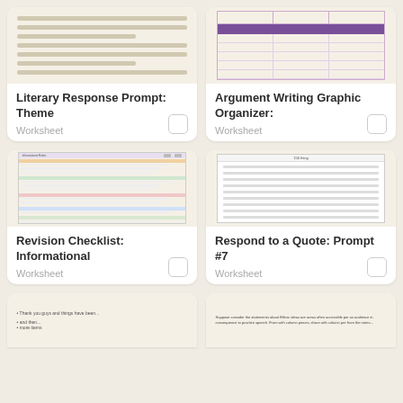[Figure (illustration): Thumbnail of Literary Response Prompt: Theme worksheet showing lined paper]
Literary Response Prompt: Theme
Worksheet
[Figure (illustration): Thumbnail of Argument Writing Graphic Organizer worksheet with purple bar and columns]
Argument Writing Graphic Organizer:
Worksheet
[Figure (illustration): Thumbnail of Revision Checklist: Informational worksheet with colored section headers]
Revision Checklist: Informational
Worksheet
[Figure (illustration): Thumbnail of Respond to a Quote: Prompt #7 worksheet with lined paper]
Respond to a Quote: Prompt #7
Worksheet
[Figure (illustration): Partial thumbnail of another worksheet at bottom left]
[Figure (illustration): Partial thumbnail of another worksheet at bottom right]